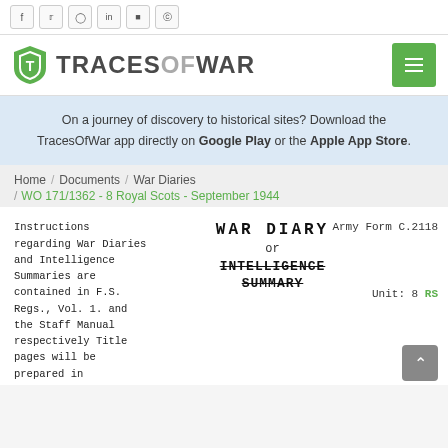Social icons: f, Twitter, Pinterest, in, Instagram, Reddit
TRACESOFWAR logo and hamburger menu
On a journey of discovery to historical sites? Download the TracesOfWar app directly on Google Play or the Apple App Store.
Home / Documents / War Diaries / WO 171/1362 - 8 Royal Scots - September 1944
Instructions regarding War Diaries and Intelligence Summaries are contained in F.S. Regs., Vol. 1. and the Staff Manual respectively Title pages will be prepared in
Army Form C.2118
WAR DIARY
or
INTELLIGENCE
SUMMARY
Unit: 8 RS